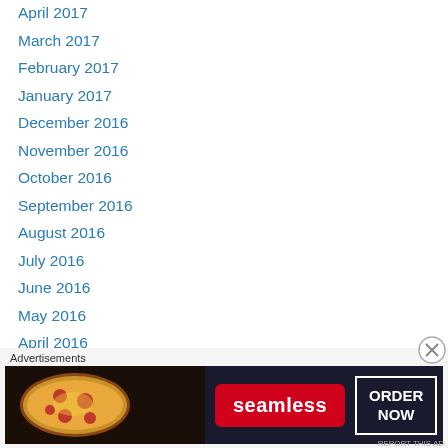April 2017
March 2017
February 2017
January 2017
December 2016
November 2016
October 2016
September 2016
August 2016
July 2016
June 2016
May 2016
April 2016
March 2016
February 2016
January 2016
December 2015
[Figure (other): Seamless food delivery advertisement banner with pizza image, Seamless logo and ORDER NOW button]
Advertisements
REPORT THIS AD